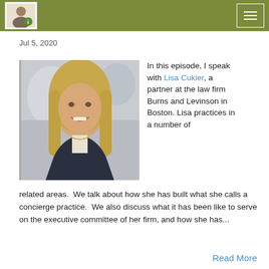Jul 5, 2020
[Figure (photo): Professional headshot of Lisa Cukier, a blonde woman in business attire, smiling, with a blurred office background]
In this episode, I speak with Lisa Cukier, a partner at the law firm Burns and Levinson in Boston. Lisa practices in a number of related areas.  We talk about how she has built what she calls a concierge practice.  We also discuss what it has been like to serve on the executive committee of her firm, and how she has...
Read More